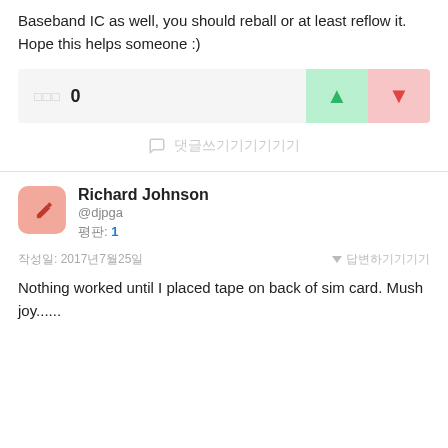Baseband IC as well, you should reball or at least reflow it. Hope this helps someone :)
[Figure (infographic): Vote bar with score 0, upvote button (green) and downvote button (red)]
댓글쓰기
Richard Johnson
@djpga
평판: 1
작성일: 2017년7월25일
Nothing worked until I placed tape on back of sim card. Mush joy......